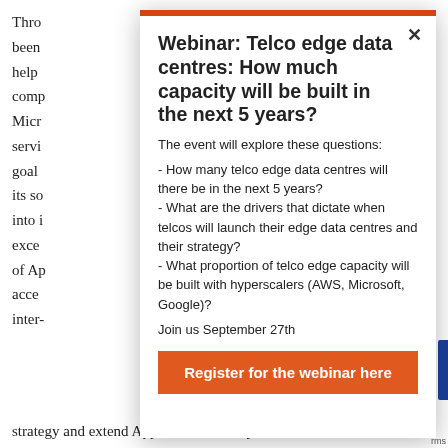Thro been help comp Micr servi goal its sc into i exce of Ap acce inter-
Webinar: Telco edge data centres: How much capacity will be built in the next 5 years?
The event will explore these questions:
- How many telco edge data centres will there be in the next 5 years?
- What are the drivers that dictate when telcos will launch their edge data centres and their strategy?
- What proportion of telco edge capacity will be built with hyperscalers (AWS, Microsoft, Google)?
Join us September 27th
Register for the webinar here
strategy and extend Apple's services beyond its...